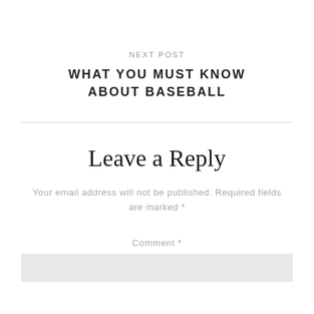NEXT POST
WHAT YOU MUST KNOW ABOUT BASEBALL
Leave a Reply
Your email address will not be published. Required fields are marked *
Comment *